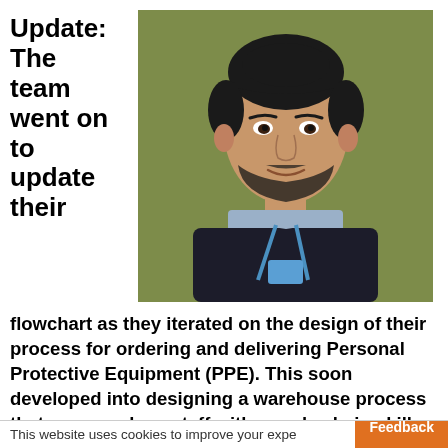Update: The team went on to update their
[Figure (photo): Portrait photo of a young man with dark hair in a bun, beard, wearing a dark sweater and blue lanyard, against an olive/green background]
flowchart as they iterated on the design of their process for ordering and delivering Personal Protective Equipment (PPE). This soon developed into designing a warehouse process that now employs staff with supply chain skills and specialist software to
This website uses cookies to improve your expe